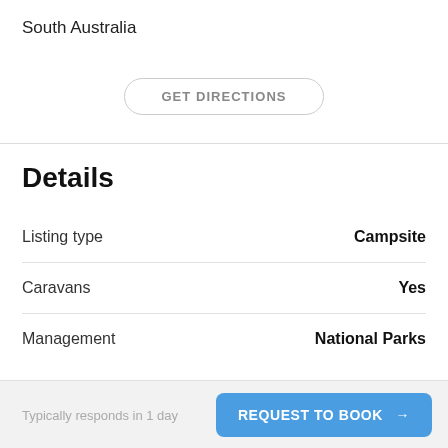South Australia
GET DIRECTIONS
Details
Listing type   Campsite
Caravans   Yes
Management   National Parks
Typically responds in 1 day
REQUEST TO BOOK →